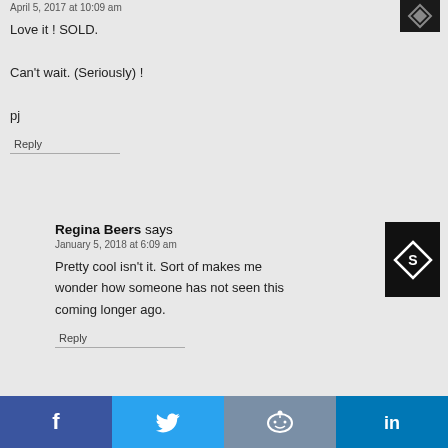April 5, 2017 at 10:09 am
Love it ! SOLD.

Can't wait. (Seriously) !

pj
Reply
Regina Beers says
January 5, 2018 at 6:09 am
Pretty cool isn't it. Sort of makes me wonder how someone has not seen this coming longer ago.
Reply